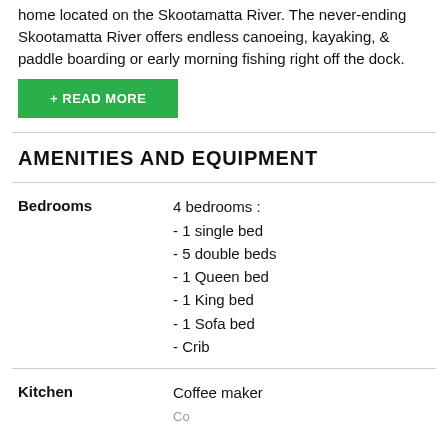home located on the Skootamatta River. The never-ending Skootamatta River offers endless canoeing, kayaking, & paddle boarding or early morning fishing right off the dock.
+ READ MORE
AMENITIES AND EQUIPMENT
Bedrooms
4 bedrooms :
- 1 single bed
- 5 double beds
- 1 Queen bed
- 1 King bed
- 1 Sofa bed
- Crib
Kitchen
Coffee maker